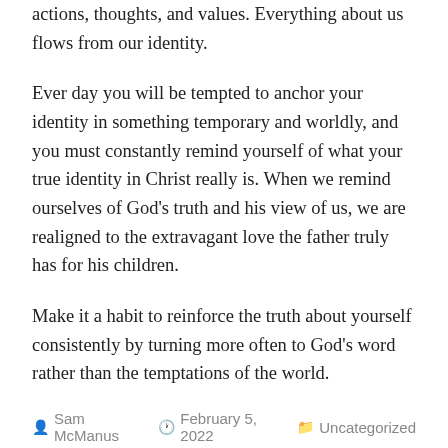actions, thoughts, and values. Everything about us flows from our identity.
Ever day you will be tempted to anchor your identity in something temporary and worldly, and you must constantly remind yourself of what your true identity in Christ really is. When we remind ourselves of God's truth and his view of us, we are realigned to the extravagant love the father truly has for his children.
Make it a habit to reinforce the truth about yourself consistently by turning more often to God's word rather than the temptations of the world.
Sam McManus  February 5, 2022  Uncategorized